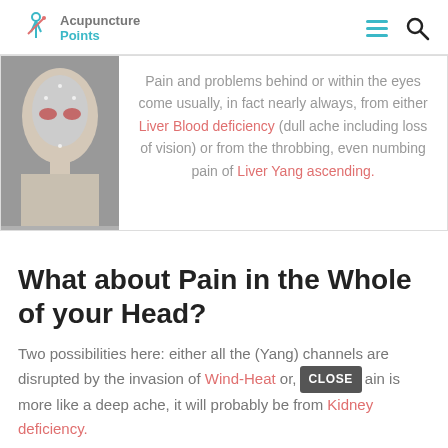Acupuncture Points
[Figure (photo): Acupuncture head mannequin with red markers near the eyes area]
Pain and problems behind or within the eyes come usually, in fact nearly always, from either Liver Blood deficiency (dull ache including loss of vision) or from the throbbing, even numbing pain of Liver Yang ascending.
What about Pain in the Whole of your Head?
Two possibilities here: either all the (Yang) channels are disrupted by the invasion of Wind-Heat or, if this pain is more like a deep ache, it will probably be from Kidney deficiency.